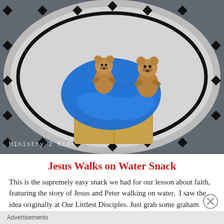[Figure (photo): A photo showing two teddy graham crackers standing on a graham cracker spread with blue frosting, placed on a round plate with a black diamond border pattern. A watermark reads 'Ministry 2 Kids'.]
Jesus Walks on Water Snack
This is the supremely easy snack we had for our lesson about faith, featuring the story of Jesus and Peter walking on water.  I saw the idea originally at Our Littlest Disciples. Just grab some graham
Advertisements